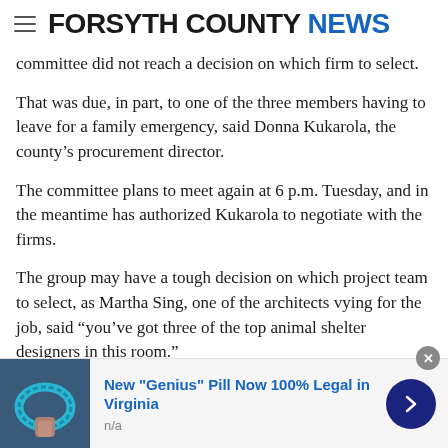FORSYTH COUNTY NEWS
committee did not reach a decision on which firm to select.
That was due, in part, to one of the three members having to leave for a family emergency, said Donna Kukarola, the county's procurement director.
The committee plans to meet again at 6 p.m. Tuesday, and in the meantime has authorized Kukarola to negotiate with the firms.
The group may have a tough decision on which project team to select, as Martha Sing, one of the architects vying for the job, said “you’ve got three of the top animal shelter designers in this room.”
[Figure (other): Advertisement banner: image of ring on left, headline 'New "Genius" Pill Now 100% Legal in Virginia', subtext 'n/a', blue arrow button on right, close X button top-right.]